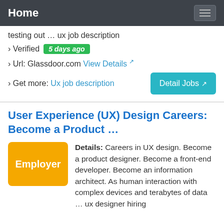Home
testing out … ux job description
› Verified  5 days ago
› Url: Glassdoor.com  View Details ↗
› Get more: Ux job description
User Experience (UX) Design Careers: Become a Product …
Details: Careers in UX design. Become a product designer. Become a front-end developer. Become an information architect. As human interaction with complex devices and terabytes of data … ux designer hiring